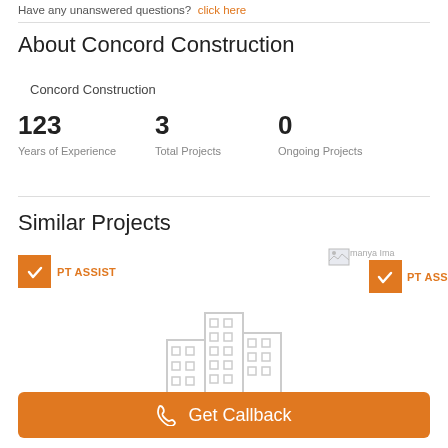Have any unanswered questions? Click here
About Concord Construction
Concord Construction
123 Years of Experience
3 Total Projects
0 Ongoing Projects
Similar Projects
[Figure (infographic): Orange checkbox badge with text PT ASSIST]
[Figure (infographic): Broken image placeholder with orange checkbox badge and text PT ASS (truncated)]
[Figure (illustration): Line-art building/construction icon in light gray]
Get Callback